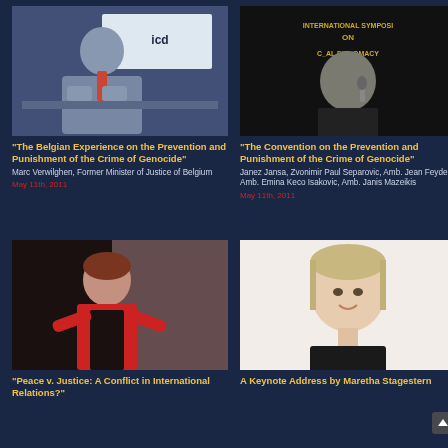[Figure (photo): Man in light blue shirt with red tie speaking at ICD event, leaning over a table]
"The Belgian Experience on the Prevention and Punishment of the Crime of Genocide"
Marc Verwilghen, Former Minister of Justice of Belgium
May 11th, 2011
[Figure (photo): Man in dark suit speaking at International Symposium on Cultural Diplomacy, holding microphone]
"The Convention on the Prevention and Punishment of the Crime of Genocide"
Janez Jansa, Zvonimir Paul Separovic, Amb. Jean Feyder, Amb. Emina Keco Isakovic, Amb. Janis Mazeikis
May 11th, 2011
[Figure (photo): Woman with red scarf speaking at event, gesturing with hands]
"Peace v. Justice: A Conflict in International Relations?"
[Figure (photo): Woman with blonde hair and pearl necklace, professional headshot against white background]
A Keynote Address by Maretha Stagestern